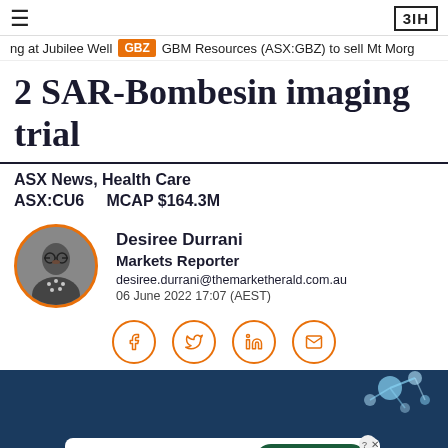≡  3IH
ng at Jubilee Well  GBZ  GBM Resources (ASX:GBZ) to sell Mt Morg
2 SAR-Bombesin imaging trial
ASX News, Health Care
ASX:CU6    MCAP $164.3M
Desiree Durrani
Markets Reporter
desiree.durrani@themarketherald.com.au
06 June 2022 17:07 (AEST)
[Figure (photo): Circular avatar photo of Desiree Durrani, a woman with dark hair and glasses, wearing a dark top with white dots, with an orange circular border]
[Figure (illustration): Dark blue background with a glowing blue molecular/scientific illustration in the upper right corner, and a white advertisement banner at the bottom: Tally Fast credit card payoff with Download Now button]